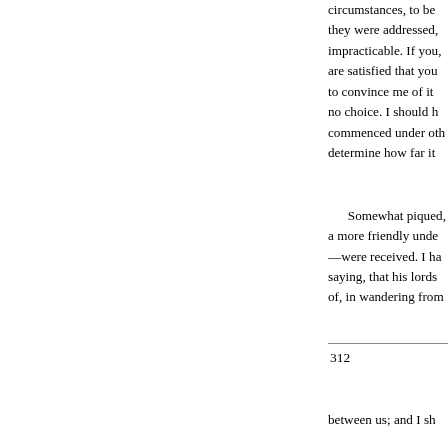circumstances, to be they were addressed, impracticable. If you, are satisfied that you to convince me of it no choice. I should h commenced under oth determine how far it
Somewhat piqued, a more friendly unde —were received. I ha saying, that his lords of, in wandering from
312
between us; and I sh